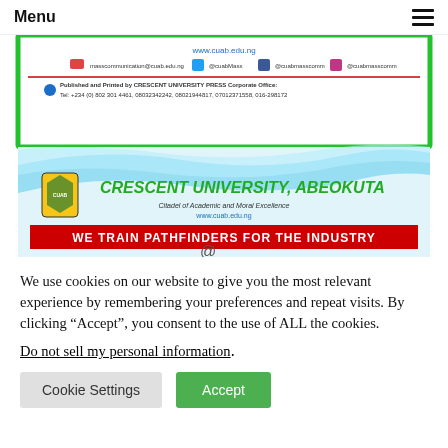Menu
[Figure (screenshot): Screenshot of Crescent University Abeokuta website header showing newspaper/publication banner at top with social media icons and contact info, followed by the university logo, name 'CRESCENT UNIVERSITY, ABEOKUTA', tagline 'Citadel of Academic and Moral Excellence', website www.cuab.edu.ng, and a red banner reading 'WE TRAIN PATHFINDERS FOR THE INDUSTRY']
We use cookies on our website to give you the most relevant experience by remembering your preferences and repeat visits. By clicking “Accept”, you consent to the use of ALL the cookies.
Do not sell my personal information.
Cookie Settings  Accept